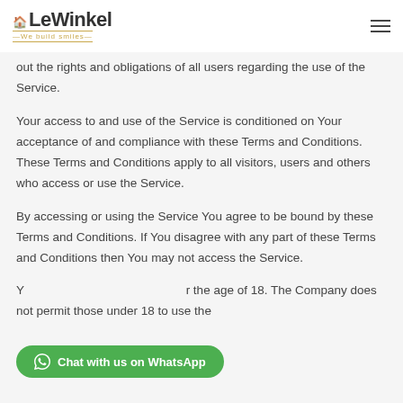LeWinkel — We build smiles
out the rights and obligations of all users regarding the use of the Service.
Your access to and use of the Service is conditioned on Your acceptance of and compliance with these Terms and Conditions. These Terms and Conditions apply to all visitors, users and others who access or use the Service.
By accessing or using the Service You agree to be bound by these Terms and Conditions. If You disagree with any part of these Terms and Conditions then You may not access the Service.
Y... r the age of 18. The Company does not permit those under 18 to use the